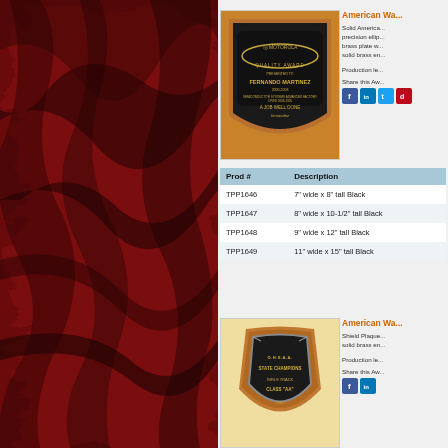[Figure (photo): Dark red/maroon swirling marble texture background on left panel]
[Figure (photo): American Walnut plaque with black ellipse brass plate, Motorola Quality Award for Fernando Martinez]
American Wa...
Solid America... precision ellip... brass plate w... solid brass en...
Production le...
Share this Aw...
| Prod # | Description |
| --- | --- |
| TPP1646 | 7" wide x 8" tall Black |
| TPP1647 | 8" wide x 10-1/2" tall Black |
| TPP1648 | 9" wide x 12" tall Black |
| TPP1649 | 11" wide x 15" tall Black |
[Figure (photo): American Walnut shield plaque with black brass plate, O.H.S.A.A. State Champions Girls Track Class AA 1997]
American Wa...
Shield Plaque... solid brass en...
Production le...
Share this Aw...